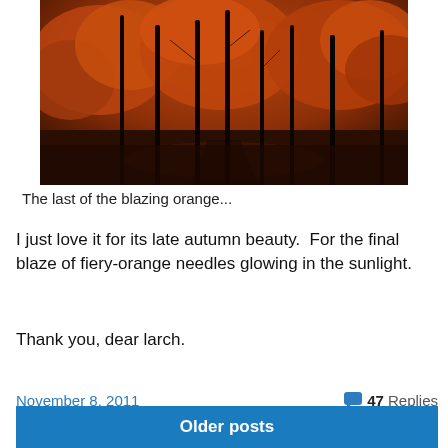[Figure (photo): Autumn larch trees with blazing orange-red foliage glowing in sunlight, dark tree trunks visible, a path or lane below, moody warm tones.]
The last of the blazing orange...
I just love it for its late autumn beauty.  For the final blaze of fiery-orange needles glowing in the sunlight.
Thank you, dear larch.
November 8, 2011
47 Replies
Older posts